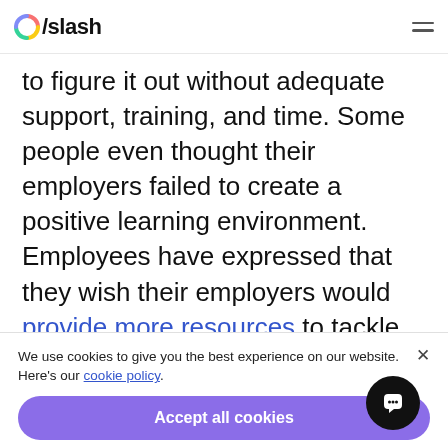Oslash
to figure it out without adequate support, training, and time. Some people even thought their employers failed to create a positive learning environment. Employees have expressed that they wish their employers would provide more resources to tackle these issues.
Most people wanted their employers to
We use cookies to give you the best experience on our website. Here's our cookie policy.
Accept all cookies